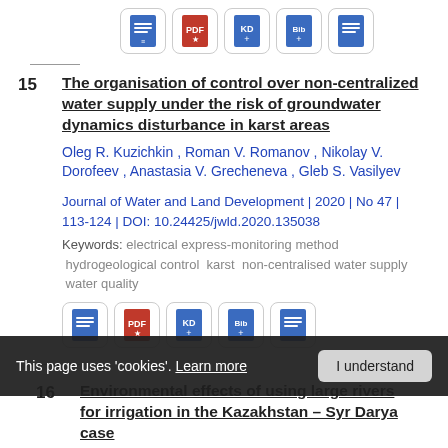[Figure (other): Row of 5 document-type icon buttons (abstract, PDF, RIS/KD, BibTeX, abstract) at top of page]
15 The organisation of control over non-centralized water supply under the risk of groundwater dynamics disturbance in karst areas
Oleg R. Kuzichkin , Roman V. Romanov , Nikolay V. Dorofeev , Anastasia V. Grecheneva , Gleb S. Vasilyev
Journal of Water and Land Development | 2020 | No 47 | 113-124 | DOI: 10.24425/jwld.2020.135038
Keywords: electrical express-monitoring method  hydrogeological control  karst  non-centralised water supply  water quality
[Figure (other): Row of 5 document-type icon buttons at bottom of entry 15]
This page uses 'cookies'. Learn more   I understand
16 Environmental effects of using large rivers for irrigation in the Kazakhstan – Syr Darya case